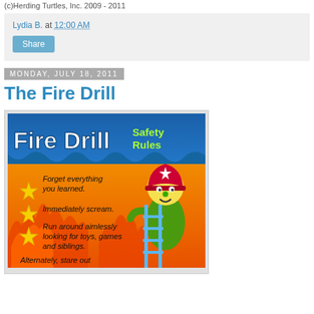(c)Herding Turtles, Inc. 2009 - 2011
Lydia B. at 12:00 AM
Share
Monday, July 18, 2011
The Fire Drill
[Figure (illustration): Fire Drill Safety Rules humorous poster with cartoon firefighter character. Text reads: Forget everything you learned. Immediately scream. Run around aimlessly looking for toys, games and siblings. Alternately, stare out...]